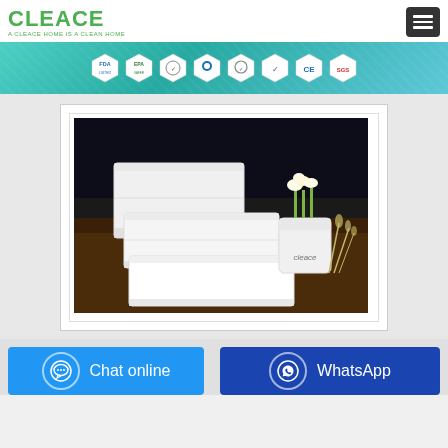[Figure (logo): Cleace brand logo in green text with tagline 'A CLEACE HOME IS A CLEAN HOME']
[Figure (infographic): Banner with certification badges: FDA, EPA, and 6 other quality/safety certification icons on teal background]
[Figure (photo): Product photo showing multiple white tissue/napkin packs stacked on a dark wooden table, with a white cup containing white flowers and a 'cleace' branded cup in the background]
Chat online
WhatsApp